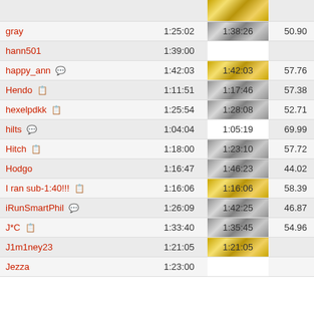| Name | Time1 | Best | Score |
| --- | --- | --- | --- |
| gray | 1:25:02 | 1:38:26 | 50.90 |
| hann501 | 1:39:00 |  |  |
| happy_ann | 1:42:03 | 1:42:03 | 57.76 |
| Hendo | 1:11:51 | 1:17:46 | 57.38 |
| hexelpdkk | 1:25:54 | 1:28:08 | 52.71 |
| hilts | 1:04:04 | 1:05:19 | 69.99 |
| Hitch | 1:18:00 | 1:23:10 | 57.72 |
| Hodgo | 1:16:47 | 1:46:23 | 44.02 |
| I ran sub-1:40!!! | 1:16:06 | 1:16:06 | 58.39 |
| iRunSmartPhil | 1:26:09 | 1:42:25 | 46.87 |
| J*C | 1:33:40 | 1:35:45 | 54.96 |
| J1m1ney23 | 1:21:05 | 1:21:05 |  |
| Jezza | 1:23:00 |  |  |